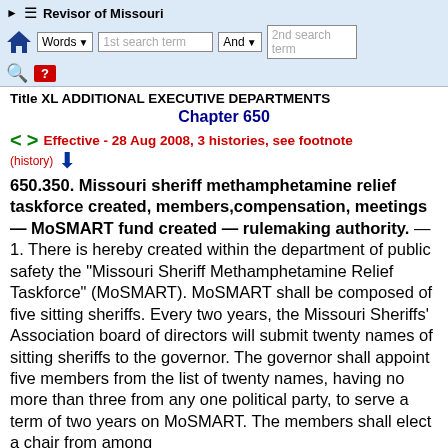Revisor of Missouri
Title XL ADDITIONAL EXECUTIVE DEPARTMENTS
Chapter 650
Effective - 28 Aug 2008, 3 histories, see footnote
(history)
650.350.  Missouri sheriff methamphetamine relief taskforce created, members,compensation, meetings — MoSMART fund created — rulemaking authority. — 1. There is hereby created within the department of public safety the "Missouri Sheriff Methamphetamine Relief Taskforce" (MoSMART). MoSMART shall be composed of five sitting sheriffs. Every two years, the Missouri Sheriffs' Association board of directors will submit twenty names of sitting sheriffs to the governor. The governor shall appoint five members from the list of twenty names, having no more than three from any one political party, to serve a term of two years on MoSMART. The members shall elect a chair from among